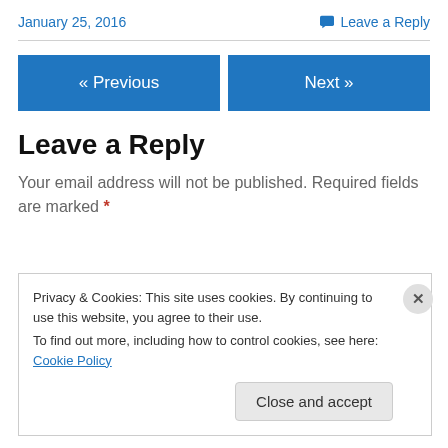January 25, 2016
Leave a Reply
« Previous
Next »
Leave a Reply
Your email address will not be published. Required fields are marked *
Privacy & Cookies: This site uses cookies. By continuing to use this website, you agree to their use.
To find out more, including how to control cookies, see here: Cookie Policy
Close and accept